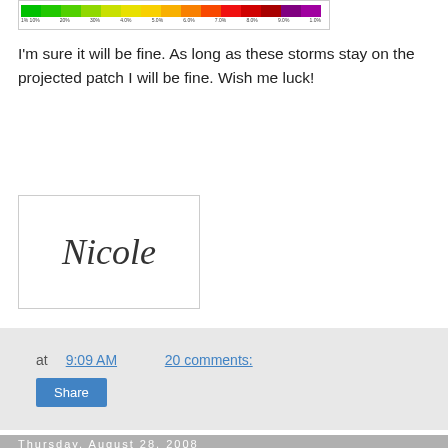[Figure (other): A color spectrum or radar-type scale bar with rainbow gradient and tick labels below it]
I'm sure it will be fine. As long as these storms stay on the projected patch I will be fine. Wish me luck!
[Figure (illustration): Handwritten cursive signature reading 'Nicole' inside a bordered box]
at 9:09 AM   20 comments:
Share
Thursday, August 28, 2008
My Class Kit Arrived!!!
I was so excited to open the mailbox yesterday and see a package from Jane Timmers. It was the chart, fabric and threads for the Madeira Tin Project to do the pre-stitching for the class. The fabric (Vintage Light Examplar by Lakeside Linens) and the silk threads (Gloriana) are just gorgeous!!